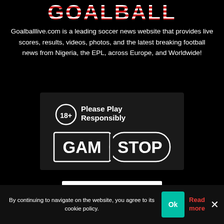GOALBALL
Goalballlive.com is a leading soccer news website that provides live scores, results, videos, photos, and the latest breaking football news from Nigeria, the EPL, across Europe, and Worldwide!
[Figure (logo): GamStop banner with 18+ circle badge, 'Please Play Responsibly' text, and GAM|STOP logo on dark background]
[Figure (logo): BeGambleAware.org white banner logo]
By continuing to navigate on the website, you agree to its cookie policy.